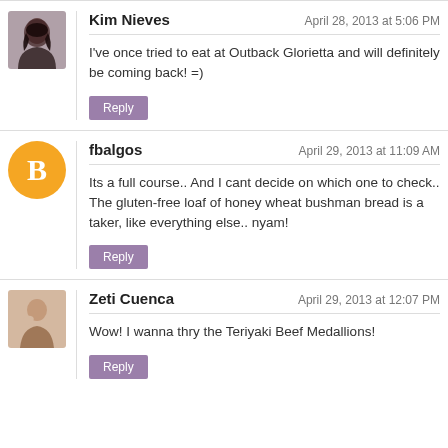Kim Nieves — April 28, 2013 at 5:06 PM
I've once tried to eat at Outback Glorietta and will definitely be coming back! =)
[Reply]
fbalgos — April 29, 2013 at 11:09 AM
Its a full course.. And I cant decide on which one to check.. The gluten-free loaf of honey wheat bushman bread is a taker, like everything else.. nyam!
[Reply]
Zeti Cuenca — April 29, 2013 at 12:07 PM
Wow! I wanna thry the Teriyaki Beef Medallions!
[Reply]